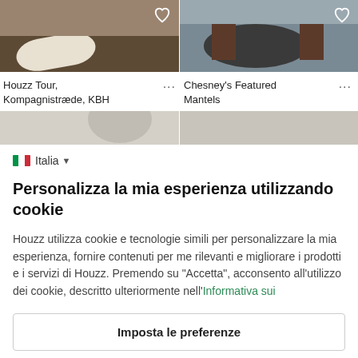[Figure (photo): Two interior design photo thumbnails at the top: left shows a room with a cowhide rug and wooden floor, right shows a dark round table with chairs]
Houzz Tour, Kompagnistræde, KBH
Chesney's Featured Mantels
[Figure (photo): Two partially visible interior design photo thumbnails]
Italia
Personalizza la mia esperienza utilizzando cookie
Houzz utilizza cookie e tecnologie simili per personalizzare la mia esperienza, fornire contenuti per me rilevanti e migliorare i prodotti e i servizi di Houzz. Premendo su "Accetta", acconsento all'utilizzo dei cookie, descritto ulteriormente nell'Informativa sui
Imposta le preferenze
Accetta